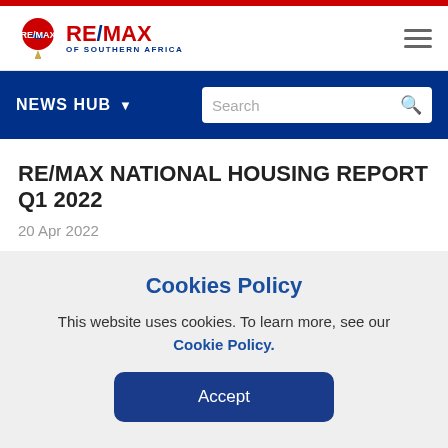RE/MAX OF SOUTHERN AFRICA
NEWS HUB
RE/MAX NATIONAL HOUSING REPORT Q1 2022
20 Apr 2022
[Figure (photo): Partial view of a property/house image behind cookie overlay]
Cookies Policy
This website uses cookies. To learn more, see our Cookie Policy.
Accept